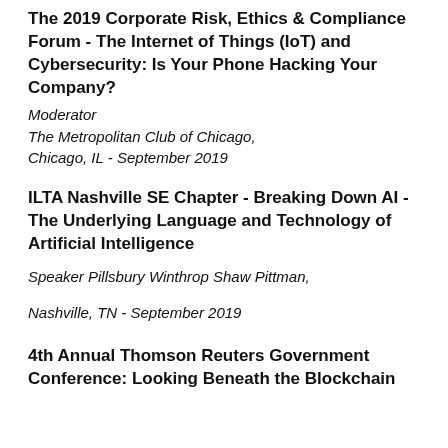The 2019 Corporate Risk, Ethics & Compliance Forum - The Internet of Things (IoT) and Cybersecurity: Is Your Phone Hacking Your Company?
Moderator
The Metropolitan Club of Chicago,
Chicago, IL - September 2019
ILTA Nashville SE Chapter - Breaking Down AI - The Underlying Language and Technology of Artificial Intelligence
Speaker Pillsbury Winthrop Shaw Pittman,

Nashville, TN - September 2019
4th Annual Thomson Reuters Government Conference: Looking Beneath the Blockchain